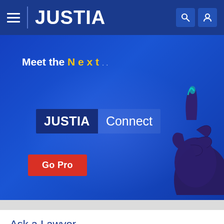JUSTIA
[Figure (screenshot): Justia Connect promotional hero banner showing 'Meet the Next...' text in white and yellow, JUSTIA Connect badge on dark blue background, a hand pointing upward graphic, and a red 'Go Pro' button, all on a blue gradient background.]
Ask a Lawyer
Question: